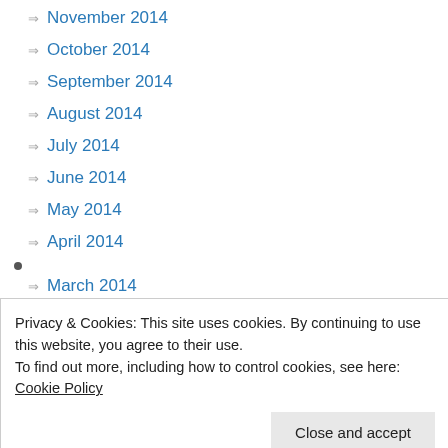November 2014
October 2014
September 2014
August 2014
July 2014
June 2014
May 2014
April 2014
March 2014
Privacy & Cookies: This site uses cookies. By continuing to use this website, you agree to their use.
To find out more, including how to control cookies, see here: Cookie Policy
November 2013